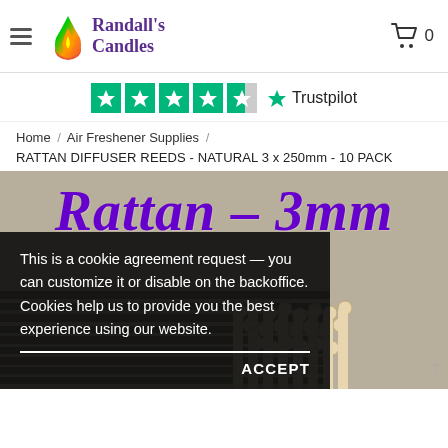[Figure (logo): Randall's Candles logo with flame icon and purple text]
[Figure (infographic): Trustpilot rating with 4.5 green stars and Trustpilot label]
Home / Air Freshener Supplies /
RATTAN DIFFUSER REEDS - NATURAL 3 x 250mm - 10 PACK
[Figure (photo): Photo of rattan diffuser reed sticks bundled together, with purple cursive text 'Rattan - 3mm' overlaid, and a cookie consent popup in the bottom left corner]